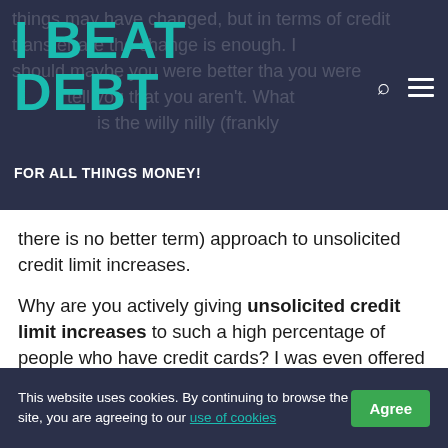I BEAT DEBT
FOR ALL THINGS MONEY!
there is no better term) approach to unsolicited credit limit increases.
Why are you actively giving unsolicited credit limit increases to such a high percentage of people who have credit cards? I was even offered credit limit increases on my card for people with poor credit. Actually – offered is the wrong word. I was GIVEN the increases. I
This website uses cookies. By continuing to browse the site, you are agreeing to our use of cookies   Agree